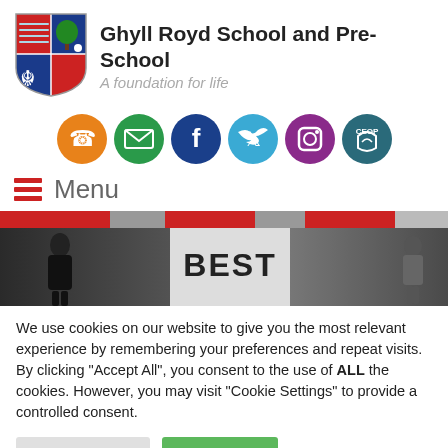Ghyll Royd School and Pre-School
A foundation for life
[Figure (logo): Ghyll Royd School shield logo with red, blue sections, tree and floral emblems]
[Figure (infographic): Row of social media icon circles: phone (orange), email (green), Facebook (dark blue), Twitter (cyan), Instagram (purple), CEOP (teal)]
Menu
[Figure (photo): Navigation strip with red and grey alternating blocks, followed by a photo of school students with text partially visible reading 'BEST']
We use cookies on our website to give you the most relevant experience by remembering your preferences and repeat visits. By clicking "Accept All", you consent to the use of ALL the cookies. However, you may visit "Cookie Settings" to provide a controlled consent.
Cookie Settings  Accept All